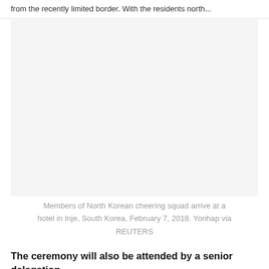from the recently limited border. With the residents north...
[Figure (photo): Photo of Members of North Korean cheering squad arriving at a hotel in Inje, South Korea, February 7, 2018. Yonhap via REUTERS. Image area appears blank/white as image content is not rendered.]
Members of North Korean cheering squad arrive at a hotel in Inje, South Korea, February 7, 2018. Yonhap via REUTERS
The ceremony will also be attended by a senior delegation